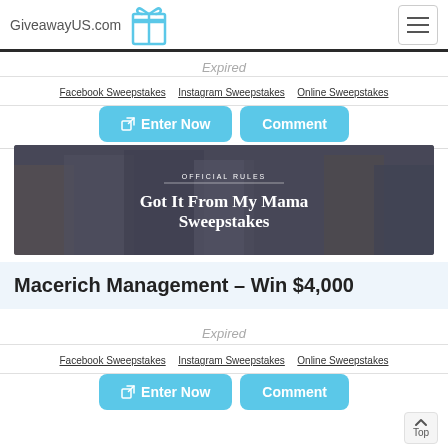GiveawayUS.com
Expired
Facebook Sweepstakes · Instagram Sweepstakes · Online Sweepstakes
Enter Now | Comment
[Figure (photo): Shopping mall scene with people; overlay text reads 'OFFICIAL RULES' and 'Got It From My Mama Sweepstakes']
Macerich Management – Win $4,000
Expired
Facebook Sweepstakes · Instagram Sweepstakes · Online Sweepstakes
Enter Now | Comment